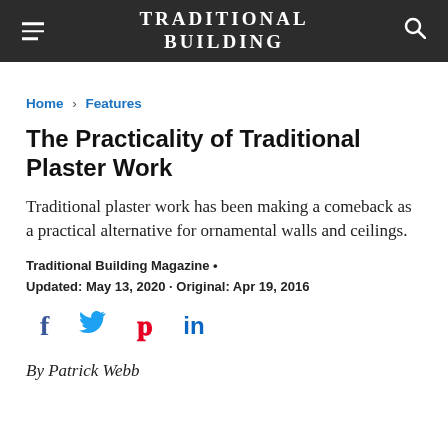TRADITIONAL BUILDING
Home > Features
The Practicality of Traditional Plaster Work
Traditional plaster work has been making a comeback as a practical alternative for ornamental walls and ceilings.
Traditional Building Magazine •
Updated: May 13, 2020 · Original: Apr 19, 2016
[Figure (infographic): Social sharing icons: Facebook (f), Twitter (bird), Pinterest (P), LinkedIn (in)]
By Patrick Webb